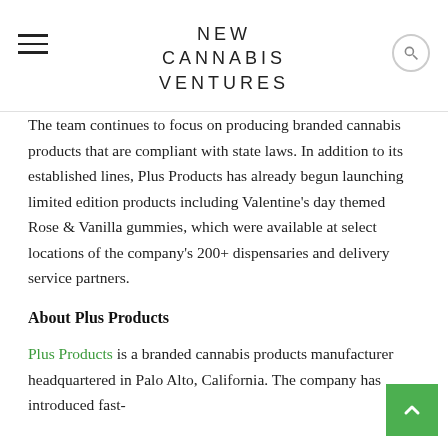NEW CANNABIS VENTURES
The team continues to focus on producing branded cannabis products that are compliant with state laws. In addition to its established lines, Plus Products has already begun launching limited edition products including Valentine's day themed Rose & Vanilla gummies, which were available at select locations of the company's 200+ dispensaries and delivery service partners.
About Plus Products
Plus Products is a branded cannabis products manufacturer headquartered in Palo Alto, California. The company has introduced fast-